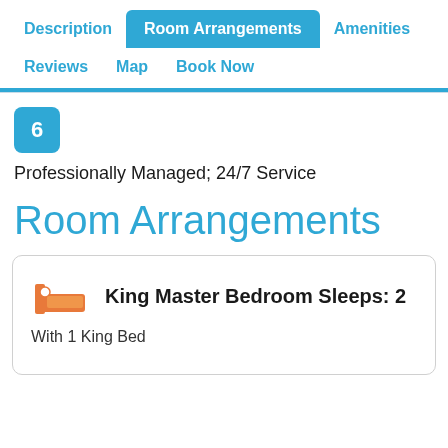Description | Room Arrangements | Amenities | Reviews | Map | Book Now
6
Professionally Managed; 24/7 Service
Room Arrangements
King Master Bedroom Sleeps: 2
With 1 King Bed